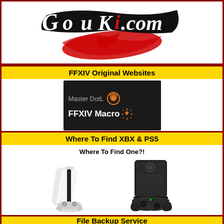[Figure (logo): GoukI.com logo with stylized black and red brush-stroke lettering]
FFXIV Original Websites
[Figure (screenshot): Dark thumbnail showing Master DotL and FFXIV Macro branding with gear/dragon icons]
Where To Find XBX & PS5
[Figure (photo): Where To Find One?! - PS5 console with controller on left, Xbox Series X console with controller on right]
File Backup Service